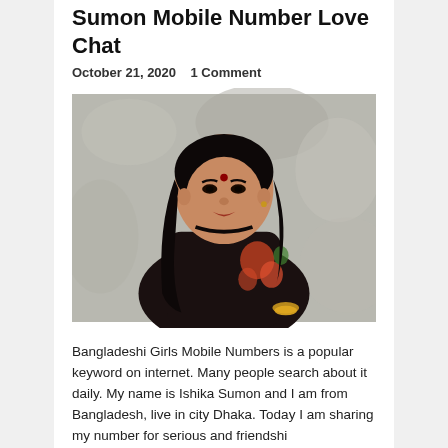Bangladesh Dhaka Girl Ishika Sumon Mobile Number Love Chat
October 21, 2020    1 Comment
[Figure (photo): Portrait photo of a young Bangladeshi woman named Ishika Sumon, wearing a black floral saree, long black hair, standing against a grey textured wall background.]
Bangladeshi Girls Mobile Numbers is a popular keyword on internet. Many people search about it daily. My name is Ishika Sumon and I am from Bangladesh, live in city Dhaka. Today I am sharing my number for serious and friendship